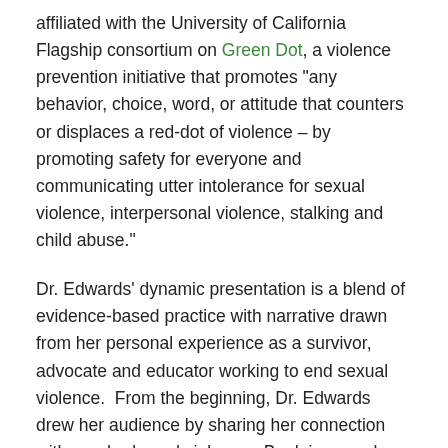affiliated with the University of California Flagship consortium on Green Dot, a violence prevention initiative that promotes "any behavior, choice, word, or attitude that counters or displaces a red-dot of violence – by promoting safety for everyone and communicating utter intolerance for sexual violence, interpersonal violence, stalking and child abuse."
Dr. Edwards' dynamic presentation is a blend of evidence-based practice with narrative drawn from her personal experience as a survivor, advocate and educator working to end sexual violence.  From the beginning, Dr. Edwards drew her audience by sharing her connection with gender-based violence.  By doing so, she models two key components to